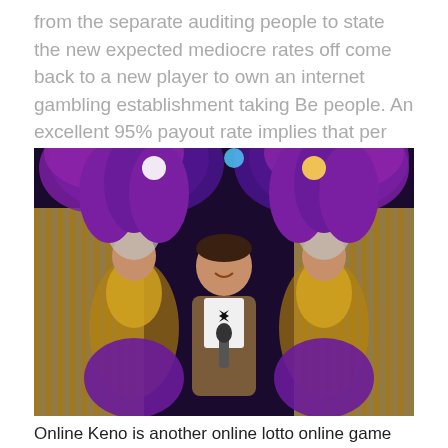from the separate auditing people to state the new expected mediocre rates off come back to a new player to own an internet gambling establishment taking Be people. An excellent 95% payout rate implies that per money your own gamble, might win 95 cents back.
[Figure (photo): A man in a tuxedo jacket holding a microphone, flanked by two showgirls wearing elaborate purple feathered headdresses and sequined costumes, performing on a stage with gold curtain backdrop.]
Online Keno is another online lotto online game similar to Bingo you to definitely Usa people are able to find from the common casinos in the usa. You are going to